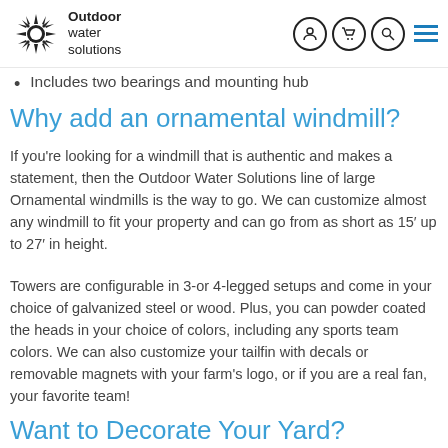Outdoor Water Solutions — navigation header
Includes two bearings and mounting hub
Why add an ornamental windmill?
If you're looking for a windmill that is authentic and makes a statement, then the Outdoor Water Solutions line of large Ornamental windmills is the way to go. We can customize almost any windmill to fit your property and can go from as short as 15′ up to 27′ in height.
Towers are configurable in 3-or 4-legged setups and come in your choice of galvanized steel or wood. Plus, you can powder coated the heads in your choice of colors, including any sports team colors. We can also customize your tailfin with decals or removable magnets with your farm's logo, or if you are a real fan, your favorite team!
Want to Decorate Your Yard?